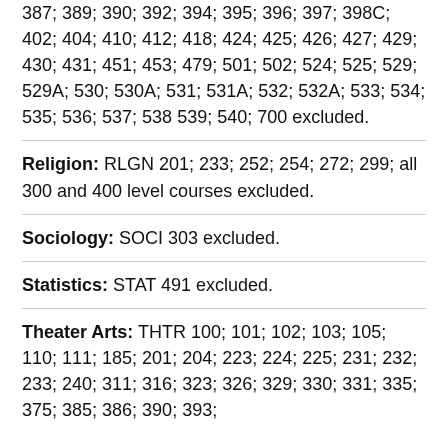387; 389; 390; 392; 394; 395; 396; 397; 398C; 402; 404; 410; 412; 418; 424; 425; 426; 427; 429; 430; 431; 451; 453; 479; 501; 502; 524; 525; 529; 529A; 530; 530A; 531; 531A; 532; 532A; 533; 534; 535; 536; 537; 538 539; 540; 700 excluded.
Religion: RLGN 201; 233; 252; 254; 272; 299; all 300 and 400 level courses excluded.
Sociology: SOCI 303 excluded.
Statistics: STAT 491 excluded.
Theater Arts: THTR 100; 101; 102; 103; 105; 110; 111; 185; 201; 204; 223; 224; 225; 231; 232; 233; 240; 311; 316; 323; 326; 329; 330; 331; 335; 375; 385; 386; 390; 393;